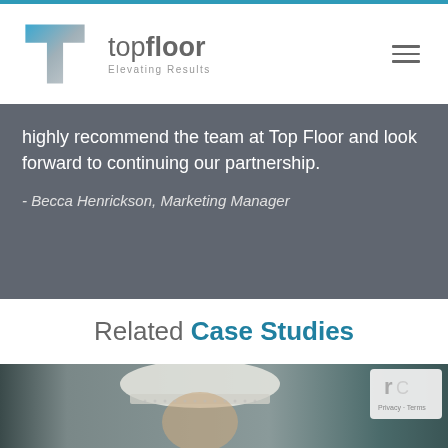[Figure (logo): Top Floor logo with blue T icon and text 'topfloor Elevating Results']
highly recommend the team at Top Floor and look forward to continuing our partnership.

- Becca Henrickson, Marketing Manager
Related Case Studies
[Figure (photo): Person wearing white hard hat, industrial setting, teal/dark background]